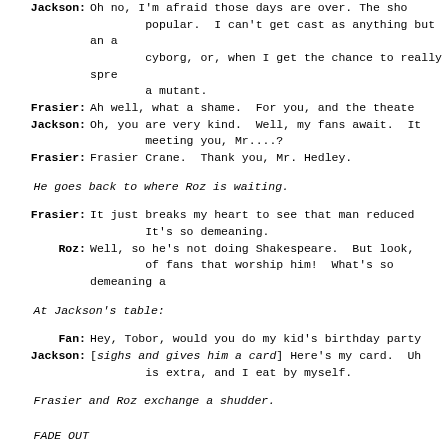Jackson: Oh no, I'm afraid those days are over.  The sho...
        popular.  I can't get cast as anything but an a...
        cyborg, or, when I get the chance to really spre...
        a mutant.
Frasier: Ah well, what a shame.  For you, and the theate...
Jackson: Oh, you are very kind.  Well, my fans await.  It...
        meeting you, Mr....?
Frasier: Frasier Crane.  Thank you, Mr. Hedley.
He goes back to where Roz is waiting.
Frasier: It just breaks my heart to see that man reduced...
        It's so demeaning.
Roz: Well, so he's not doing Shakespeare.  But look,...
        of fans that worship him!  What's so demeaning a...
At Jackson's table:
Fan: Hey, Tobor, would you do my kid's birthday party...
Jackson: [sighs and gives him a card] Here's my card.  Uh...
        is extra, and I eat by myself.
Frasier and Roz exchange a shudder.
FADE OUT
Scene Two - Apartment
Frasier is sitting on the couch.  Niles comes in carrying...
followed by Martin and Eddie.
Niles: Hey, look who I found at the airport!